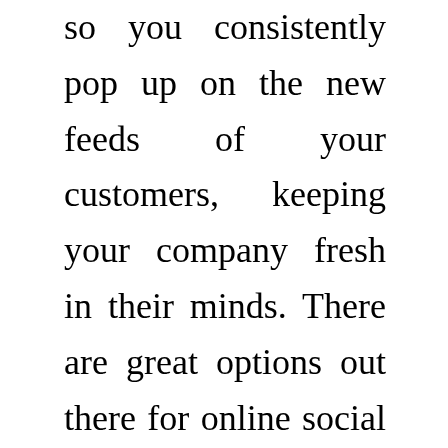so you consistently pop up on the new feeds of your customers, keeping your company fresh in their minds. There are great options out there for online social media marketing consultants that can help you achieve this. Outsourcing social media marketing means one less responsibility on your plate so you can concentrate on running a business instead of generating